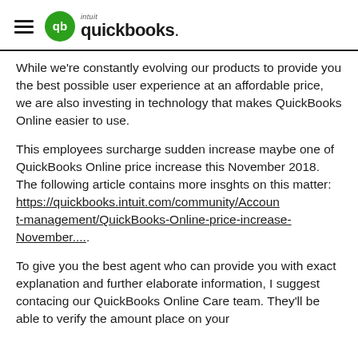QuickBooks (Intuit) logo with hamburger menu
While we're constantly evolving our products to provide you the best possible user experience at an affordable price, we are also investing in technology that makes QuickBooks Online easier to use.
This employees surcharge sudden increase maybe one of QuickBooks Online price increase this November 2018. The following article contains more insghts on this matter: https://quickbooks.intuit.com/community/Account-management/QuickBooks-Online-price-increase-November....
To give you the best agent who can provide you with exact explanation and further elaborate information, I suggest contacing our QuickBooks Online Care team. They'll be able to verify the amount place on your account and in the safest way to allow you to present it.